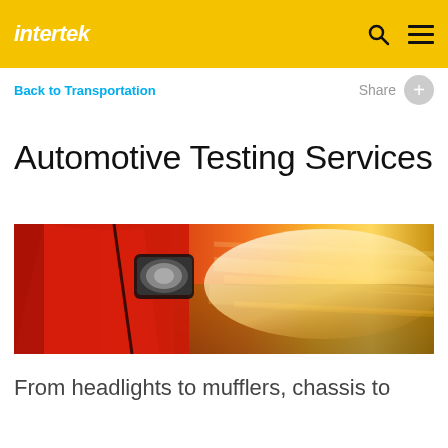intertek
Back to Transportation
Share
Automotive Testing Services
[Figure (photo): Close-up of a red sports car side mirror and body panel with motion-blurred bright orange/yellow background suggesting speed on a road.]
From headlights to mufflers, chassis to